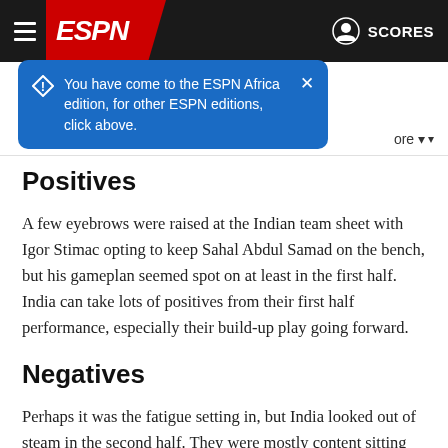ESPN header with hamburger menu, ESPN logo, user icon, SCORES
You have come to the ESPN Africa edition, for other ESPN editions, click above.
Positives
A few eyebrows were raised at the Indian team sheet with Igor Stimac opting to keep Sahal Abdul Samad on the bench, but his gameplan seemed spot on at least in the first half. India can take lots of positives from their first half performance, especially their build-up play going forward.
Negatives
Perhaps it was the fatigue setting in, but India looked out of steam in the second half. They were mostly content sitting back, looking to hit Oman on the counter. The midfield didn't look sharp and the quality of distribution dipped massively.